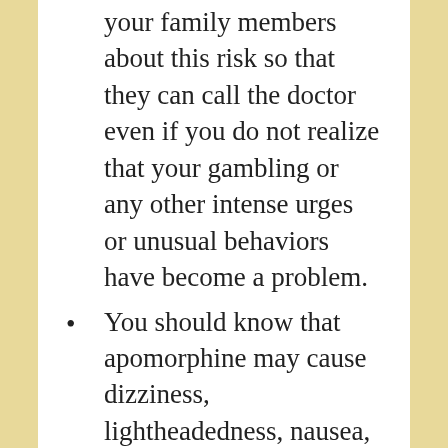your family members about this risk so that they can call the doctor even if you do not realize that your gambling or any other intense urges or unusual behaviors have become a problem.
You should know that apomorphine may cause dizziness, lightheadedness, nausea, sweating, and fainting when you get up too quickly from a lying or sitting position. This is more common when you first start using apomorphine or following an increase in dose. To